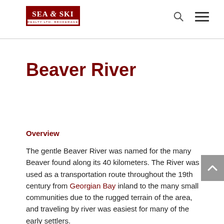Sea & Ski Realty Ltd. Brokerage
Beaver River
Overview
The gentle Beaver River was named for the many Beaver found along its 40 kilometers. The River was used as a transportation route throughout the 19th century from Georgian Bay inland to the many small communities due to the rugged terrain of the area, and traveling by river was easiest for many of the early settlers.